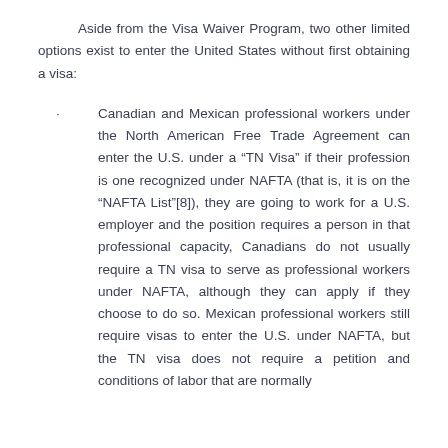Aside from the Visa Waiver Program, two other limited options exist to enter the United States without first obtaining a visa:
Canadian and Mexican professional workers under the North American Free Trade Agreement can enter the U.S. under a “TN Visa” if their profession is one recognized under NAFTA (that is, it is on the “NAFTA List”[8]), they are going to work for a U.S. employer and the position requires a person in that professional capacity, Canadians do not usually require a TN visa to serve as professional workers under NAFTA, although they can apply if they choose to do so. Mexican professional workers still require visas to enter the U.S. under NAFTA, but the TN visa does not require a petition and conditions of labor that are normally